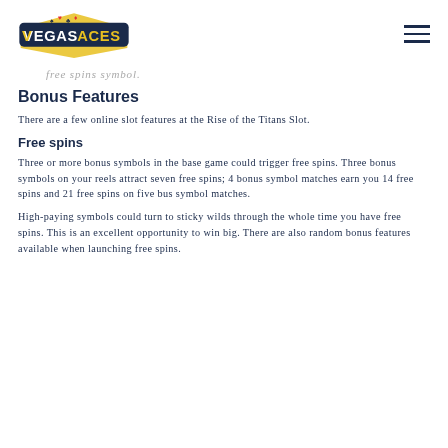Vegas Aces logo and navigation
free spins symbol.
Bonus Features
There are a few online slot features at the Rise of the Titans Slot.
Free spins
Three or more bonus symbols in the base game could trigger free spins. Three bonus symbols on your reels attract seven free spins; 4 bonus symbol matches earn you 14 free spins and 21 free spins on five bus symbol matches.
High-paying symbols could turn to sticky wilds through the whole time you have free spins. This is an excellent opportunity to win big. There are also random bonus features available when launching free spins.